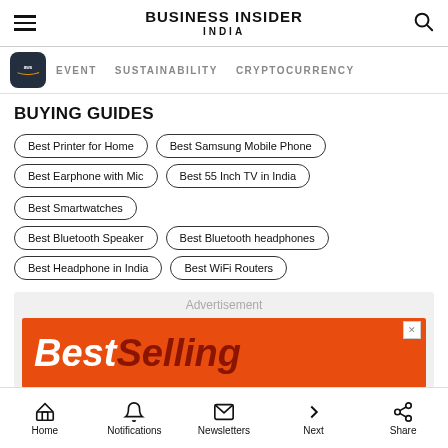BUSINESS INSIDER INDIA
EVENT   SUSTAINABILITY   CRYPTOCURRENCY
BUYING GUIDES
Best Printer for Home
Best Samsung Mobile Phone
Best Earphone with Mic
Best 55 Inch TV in India
Best Smartwatches
Best Bluetooth Speaker
Best Bluetooth headphones
Best Headphone in India
Best WiFi Routers
[Figure (other): Advertisement banner showing 'BestSelling' text on orange background]
Home   Notifications   Newsletters   Next   Share